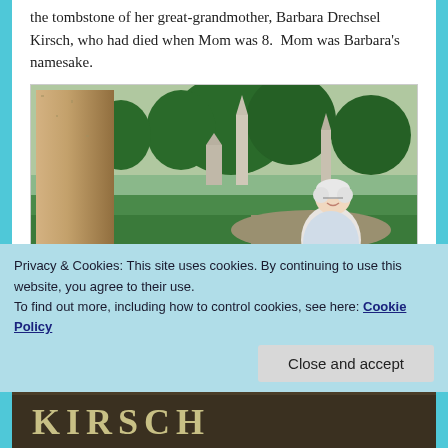the tombstone of her great-grandmother, Barbara Drechsel Kirsch, who had died when Mom was 8.  Mom was Barbara's namesake.
[Figure (photo): An elderly white-haired woman standing in a cemetery next to a large granite tombstone, with other monuments and trees visible in the background.]
Privacy & Cookies: This site uses cookies. By continuing to use this website, you agree to their use.
To find out more, including how to control cookies, see here: Cookie Policy
Close and accept
[Figure (photo): Partial view of a tombstone with letters visible at the bottom of the page.]